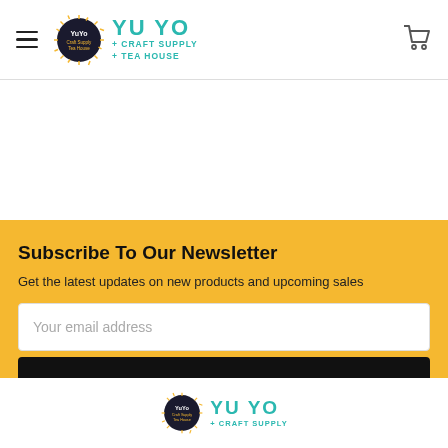YU YO + CRAFT SUPPLY + TEA HOUSE — Navigation header with logo, hamburger menu, and cart icon
Subscribe To Our Newsletter
Get the latest updates on new products and upcoming sales
Your email address
SUBSCRIBE
[Figure (logo): Yu Yo Craft Supply + Tea House logo at footer]